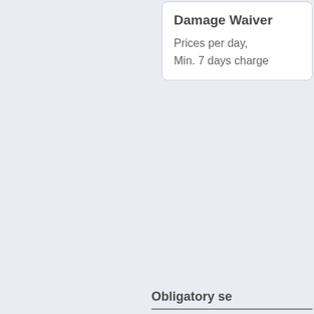| Damage Waiver |  |
| --- | --- |
| Prices per day, Min. 7 days charge |  |
Obligatory se...
| 2 |
| 3 |
| 4 |
| 5 |
| 6 |
| Catamaran |
| 46ft |